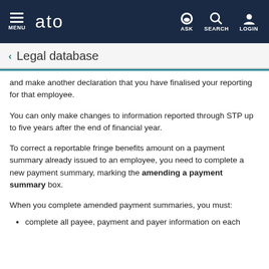MENU  ato  ASK  SEARCH  LOGIN
< Legal database
and make another declaration that you have finalised your reporting for that employee.
You can only make changes to information reported through STP up to five years after the end of financial year.
To correct a reportable fringe benefits amount on a payment summary already issued to an employee, you need to complete a new payment summary, marking the amending a payment summary box.
When you complete amended payment summaries, you must:
complete all payee, payment and payer information on each